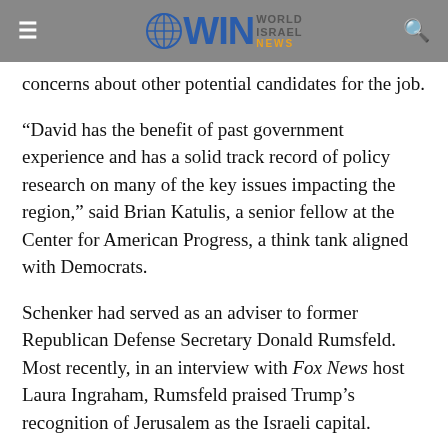WIN World Israel News navigation bar
concerns about other potential candidates for the job.
“David has the benefit of past government experience and has a solid track record of policy research on many of the key issues impacting the region,” said Brian Katulis, a senior fellow at the Center for American Progress, a think tank aligned with Democrats.
Schenker had served as an adviser to former Republican Defense Secretary Donald Rumsfeld. Most recently, in an interview with Fox News host Laura Ingraham, Rumsfeld praised Trump’s recognition of Jerusalem as the Israeli capital.
“It’s a no brainer. It’s the right thing to do,” Rumsfeld said. “President Trump made the right decision — he stepped up and did it. It’s inevitable that there will be some